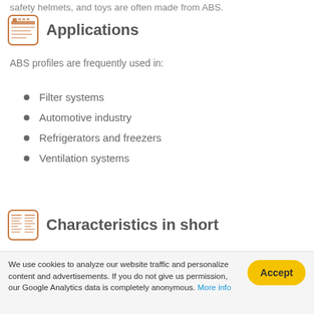safety helmets, and toys are often made from ABS.
Applications
ABS profiles are frequently used in:
Filter systems
Automotive industry
Refrigerators and freezers
Ventilation systems
Characteristics in short
Maximum ambient temperature approximately 85 - 105° C (185 - 221° F)
We use cookies to analyze our website traffic and personalize content and advertisements. If you do not give us permission, our Google Analytics data is completely anonymous. More info